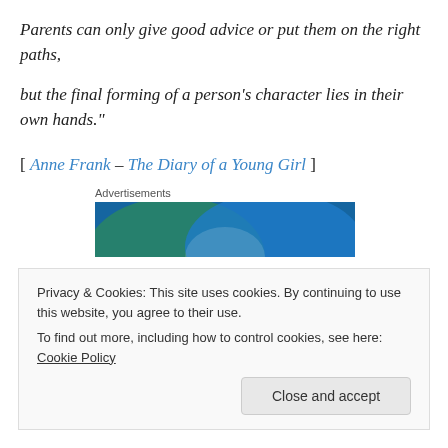Parents can only give good advice or put them on the right paths,
but the final forming of a person's character lies in their own hands."
[ Anne Frank – The Diary of a Young Girl ]
[Figure (other): Advertisements banner image with blue and green circular shapes]
Privacy & Cookies: This site uses cookies. By continuing to use this website, you agree to their use.
To find out more, including how to control cookies, see here: Cookie Policy